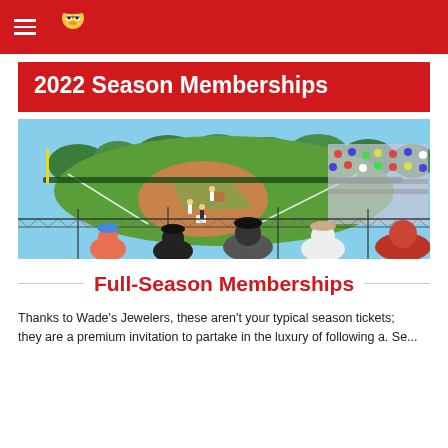Navigation bar with hamburger menu and mascot logo
2022 Season Memberships
[Figure (photo): Wide-angle photo of a minor league baseball stadium during a game, showing the field, players, and stands filled with spectators viewed from behind home plate area]
Full-Season Memberships
Thanks to Wade's Jewelers, these aren't your typical season tickets; they are a premium invitation to partake in the luxury of following a. Se...